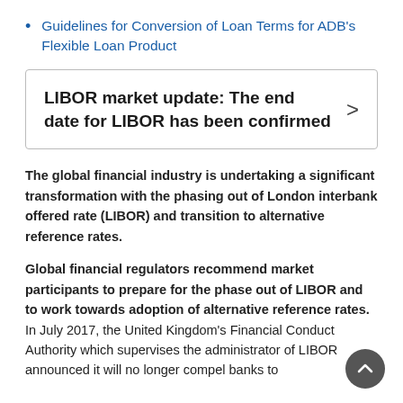Guidelines for Conversion of Loan Terms for ADB's Flexible Loan Product
LIBOR market update: The end date for LIBOR has been confirmed
The global financial industry is undertaking a significant transformation with the phasing out of London interbank offered rate (LIBOR) and transition to alternative reference rates.
Global financial regulators recommend market participants to prepare for the phase out of LIBOR and to work towards adoption of alternative reference rates. In July 2017, the United Kingdom's Financial Conduct Authority which supervises the administrator of LIBOR announced it will no longer compel banks to